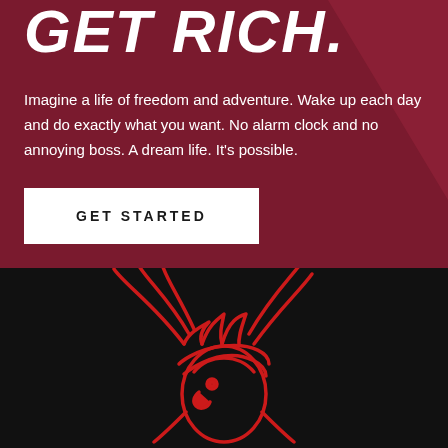GET RICH.
Imagine a life of freedom and adventure. Wake up each day and do exactly what you want. No alarm clock and no annoying boss. A dream life. It's possible.
GET STARTED
[Figure (logo): Red rooster/phoenix logo on black background, stylized line art in red]